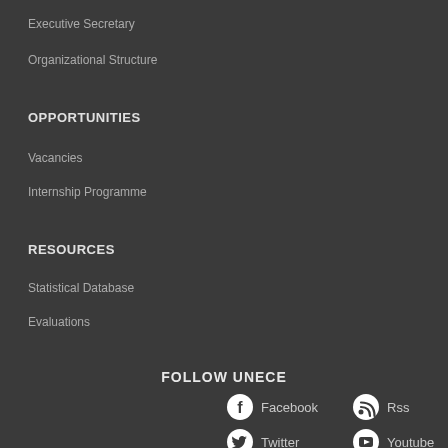Executive Secretary
Organizational Structure
OPPORTUNITIES
Vacancies
Internship Programme
RESOURCES
Statistical Database
Evaluations
FOLLOW UNECE
Facebook
Rss
Twitter
Youtube
Contact us
Instagram
Flickr